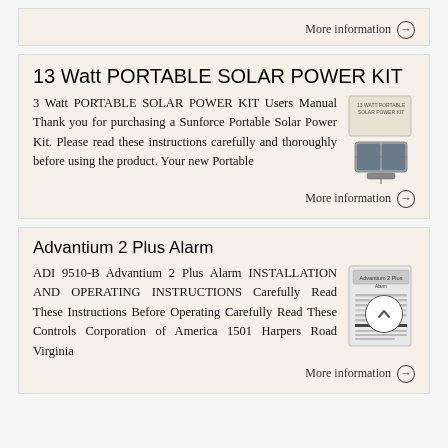More information →
13 Watt PORTABLE SOLAR POWER KIT
3 Watt PORTABLE SOLAR POWER KIT Users Manual Thank you for purchasing a Sunforce Portable Solar Power Kit. Please read these instructions carefully and thoroughly before using the product. Your new Portable
More information →
Advantium 2 Plus Alarm
ADI 9510-B Advantium 2 Plus Alarm INSTALLATION AND OPERATING INSTRUCTIONS Carefully Read These Instructions Before Operating Carefully Read These Controls Corporation of America 1501 Harpers Road Virginia
More information →